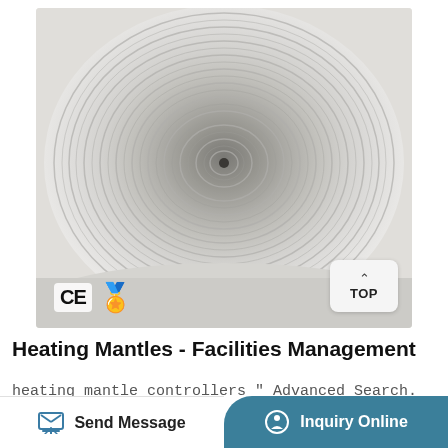[Figure (photo): Close-up photo of a heating mantle viewed from below, showing a concentric circular woven fibreglass/ceramic heating element pattern. CE certification logo and a gold dollar badge are visible at the bottom left. A 'TOP' navigation button is at the bottom right.]
Heating Mantles - Facilities Management
heating mantle controllers " Advanced Search.
Send Message
Inquiry Online